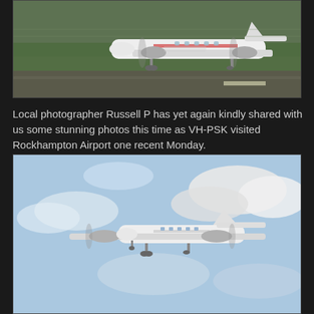[Figure (photo): A white twin-engine turboprop aircraft (VH-PSK) on a runway or taxiway with green trees and mountains in the background, motion blur on propellers and background suggesting movement, taken at Rockhampton Airport.]
Local photographer Russell P has yet again kindly shared with us some stunning photos this time as VH-PSK visited Rockhampton Airport one recent Monday.
[Figure (photo): A white twin-engine turboprop aircraft (VH-PSK) in flight against a partly cloudy blue sky, approaching to land with landing gear deployed, viewed from slightly below and ahead.]